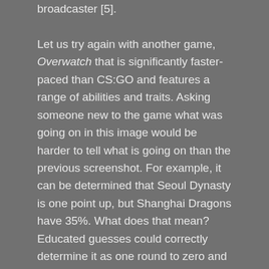broadcaster [5].

Let us try again with another game, Overwatch that is significantly faster-paced than CS:GO and features a range of abilities and traits. Asking someone new to the game what was going on in this image would be harder to tell what is going on than the previous screenshot. For example, it can be determined that Seoul Dynasty is one point up, but Shanghai Dragons have 35%. What does that mean? Educated guesses could correctly determine it as one round to zero and first to 100% wins a round, but that is not immediately apparent. Secondly you could determine that the circle percentage in the